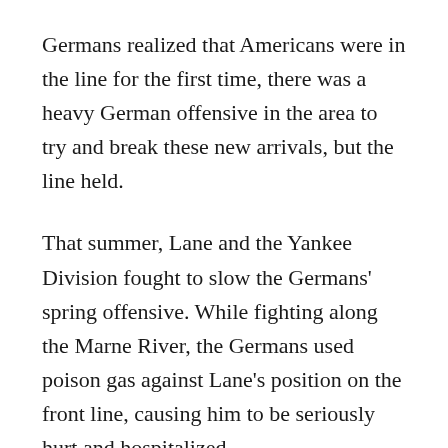Germans realized that Americans were in the line for the first time, there was a heavy German offensive in the area to try and break these new arrivals, but the line held.
That summer, Lane and the Yankee Division fought to slow the Germans' spring offensive. While fighting along the Marne River, the Germans used poison gas against Lane's position on the front line, causing him to be seriously hurt and hospitalized.
In a bizarre twist, when Lane was recovering in an Army field hospital, he encountered another Danvers man who served on a different section of the front with a field artillery regiment: Corp. Harold P. Sillars. Not